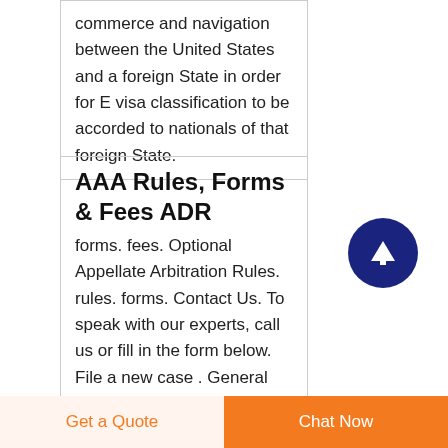commerce and navigation between the United States and a foreign State in order for E visa classification to be accorded to nationals of that foreign State.
AAA Rules, Forms & Fees ADR
forms. fees. Optional Appellate Arbitration Rules. rules. forms. Contact Us. To speak with our experts, call us or fill in the form below. File a new case . General Inquiry .